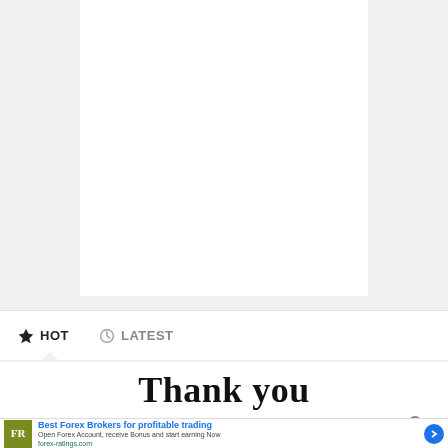[Figure (other): White content area box on grey background, representing a page/article content region]
HOT   LATEST
Thank you
[Figure (other): Advertisement banner: Best Forex Brokers for profitable trading. Open Forex Account, receive Bonus and start earning Now. forex-ratings.com. FR logo in olive/green square.]